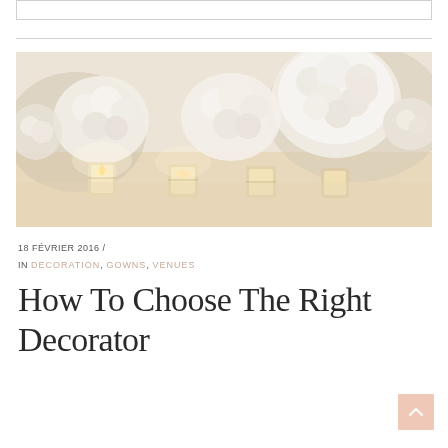[Figure (photo): Wedding table centerpiece with white floral arrangements (hydrangeas and similar flowers) and lit candles in glass votives on a table with a light tablecloth.]
18 FÉVRIER 2016 /
IN DECORATION, GOWNS, VENUES
How To Choose The Right Decorator